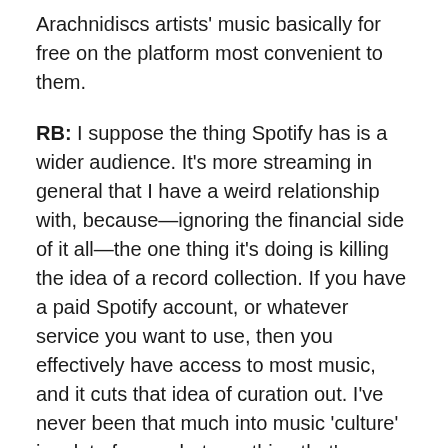Arachnidiscs artists' music basically for free on the platform most convenient to them.
RB: I suppose the thing Spotify has is a wider audience. It's more streaming in general that I have a weird relationship with, because—ignoring the financial side of it all—the one thing it's doing is killing the idea of a record collection. If you have a paid Spotify account, or whatever service you want to use, then you effectively have access to most music, and it cuts that idea of curation out. I've never been that much into music 'culture' in a lot of ways, but one thing that's always appealed to me is the curation of a record collection and how it reflects a person. You can look at someone's shelves or iTunes library and it's full of memories, associations, reflections of their personality and quirks… with Spotify, you effectively 'own' your favourite album alongside ones you hate.